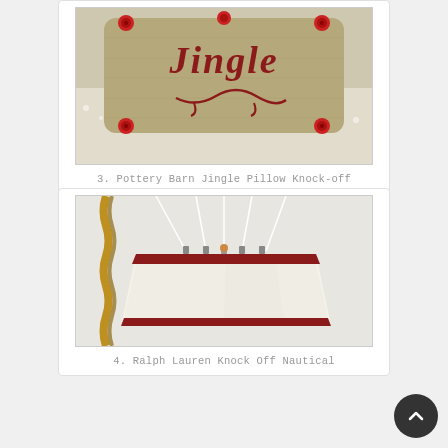[Figure (photo): A burlap pillow with 'Jingle' text stitched in red, decorated with red jingle bells at the corners, placed on lace fabric background.]
3. Pottery Barn Jingle Pillow Knock-off
[Figure (photo): A nautical-style pendant lamp shade in cream/white with red/dark red trim stripe, suspended by white cords and a braided rope, with small metal hardware clips at top.]
4. Ralph Lauren Knock Off Nautical